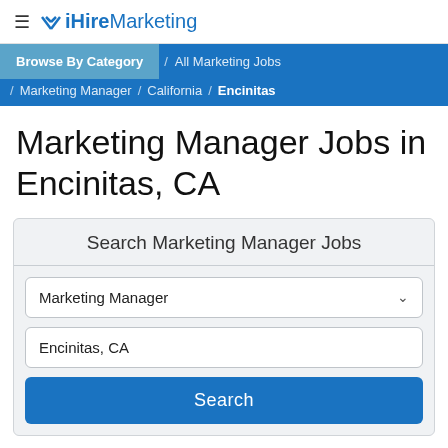≡ ✕ iHireMarketing
Browse By Category / All Marketing Jobs / Marketing Manager / California / Encinitas
Marketing Manager Jobs in Encinitas, CA
Search Marketing Manager Jobs
Marketing Manager
Encinitas, CA
Search